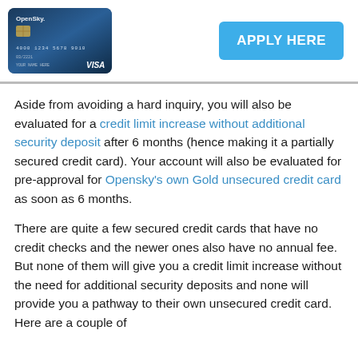[Figure (photo): OpenSky Visa credit card image showing card front with chip and number 4000 1234 5678 9010]
[Figure (other): Blue 'APPLY HERE' button]
Aside from avoiding a hard inquiry, you will also be evaluated for a credit limit increase without additional security deposit after 6 months (hence making it a partially secured credit card). Your account will also be evaluated for pre-approval for Opensky's own Gold unsecured credit card as soon as 6 months.
There are quite a few secured credit cards that have no credit checks and the newer ones also have no annual fee. But none of them will give you a credit limit increase without the need for additional security deposits and none will provide you a pathway to their own unsecured credit card. Here are a couple of